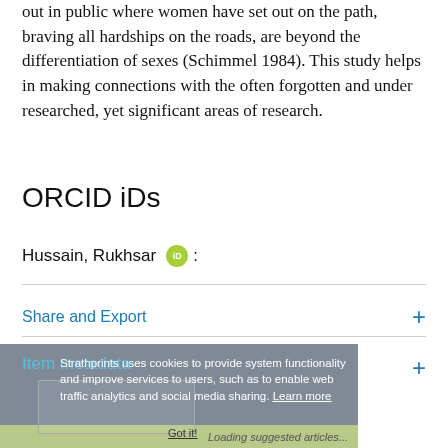out in public where women have set out on the path, braving all hardships on the roads, are beyond the differentiation of sexes (Schimmel 1984). This study helps in making connections with the often forgotten and under researched, yet significant areas of research.
ORCID iDs
Hussain, Rukhsar [ORCID]:
Share and Export
Item metadata
Strathprints uses cookies to provide system functionality and improve services to users, such as to enable web traffic analytics and social media sharing. Learn more
Loading suggested articles...
Got it!